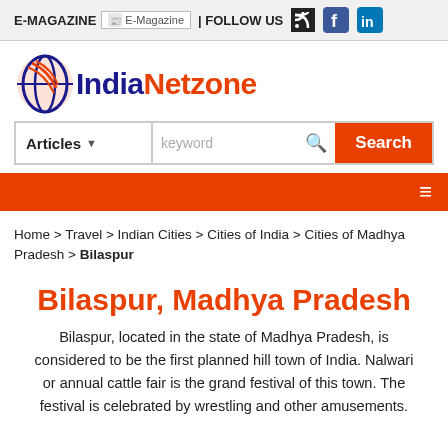E-MAGAZINE | FOLLOW US
[Figure (logo): IndiaNetzone logo with stylized globe/swirl icon and text 'IndiaNetzone' in blue and orange]
Articles ▼   keyword   Search
≡
Home > Travel > Indian Cities > Cities of India > Cities of Madhya Pradesh > Bilaspur
Bilaspur, Madhya Pradesh
Bilaspur, located in the state of Madhya Pradesh, is considered to be the first planned hill town of India. Nalwari or annual cattle fair is the grand festival of this town. The festival is celebrated by wrestling and other amusements.